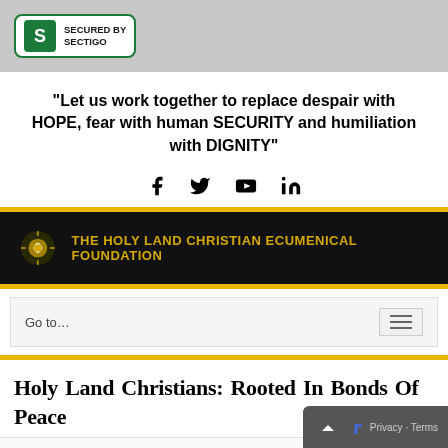[Figure (logo): Secured by Sectigo badge with green S icon and text]
“Let us work together to replace despair with HOPE, fear with human SECURITY and humiliation with DIGNITY”
[Figure (infographic): Social media icons: Facebook, Twitter, YouTube, LinkedIn]
[Figure (logo): The Holy Land Christian Ecumenical Foundation logo on dark banner]
Go to…
Holy Land Christians: Rooted In Bonds Of Peace
‹ Previous
MORE: THIS is 4So participants from over 45 countries come fi…